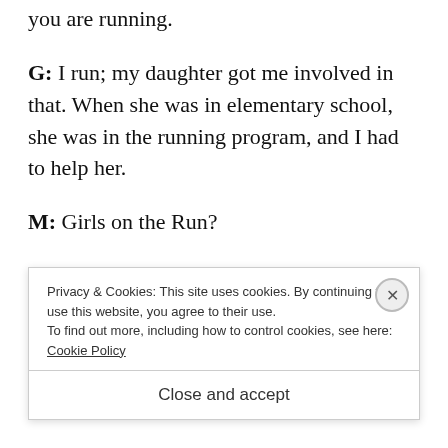you are running.
G: I run; my daughter got me involved in that. When she was in elementary school, she was in the running program, and I had to help her.
M: Girls on the Run?
G: Girls on the Run, yes. Now I do 5Ks. And I follow two bands— one of them has a lead singer
Privacy & Cookies: This site uses cookies. By continuing to use this website, you agree to their use. To find out more, including how to control cookies, see here: Cookie Policy
Close and accept